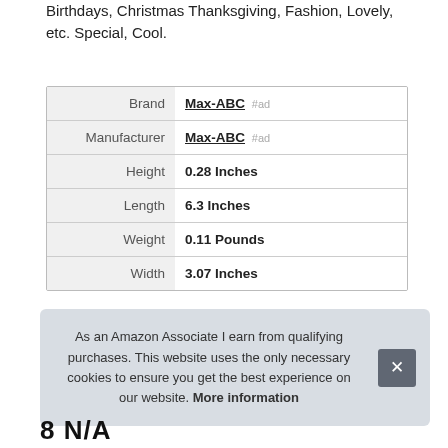Birthdays, Christmas Thanksgiving, Fashion, Lovely, etc. Special, Cool.
| Attribute | Value |
| --- | --- |
| Brand | Max-ABC #ad |
| Manufacturer | Max-ABC #ad |
| Height | 0.28 Inches |
| Length | 6.3 Inches |
| Weight | 0.11 Pounds |
| Width | 3.07 Inches |
As an Amazon Associate I earn from qualifying purchases. This website uses the only necessary cookies to ensure you get the best experience on our website. More information
8 N/A